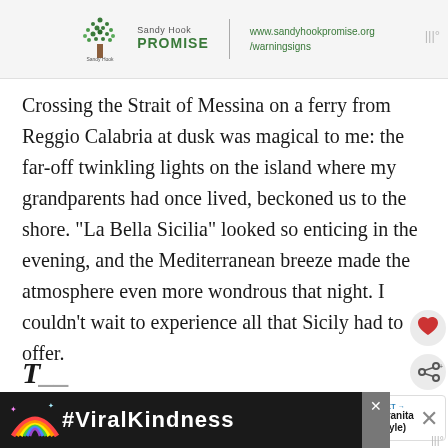[Figure (logo): Sandy Hook Promise logo with tree graphic and URL www.sandyhookpromise.org/warningsigns]
Crossing the Strait of Messina on a ferry from Reggio Calabria at dusk was magical to me: the far-off twinkling lights on the island where my grandparents had once lived, beckoned us to the shore. “La Bella Sicilia” looked so enticing in the evening, and the Mediterranean breeze made the atmosphere even more wondrous that night. I couldn’t wait to experience all that Sicily had to offer.
[Figure (infographic): What's Next widget showing lemon granita (Italian style) with circular thumbnail image]
[Figure (infographic): Bottom advertisement banner with rainbow graphic and #ViralKindness text on dark background]